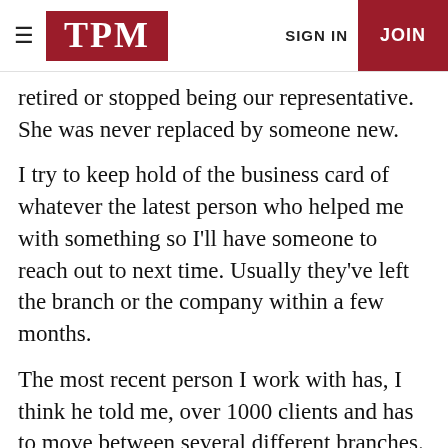TPM | SIGN IN | JOIN
retired or stopped being our representative. She was never replaced by someone new.
I try to keep hold of the business card of whatever the latest person who helped me with something so I'll have someone to reach out to next time. Usually they've left the branch or the company within a few months.
The most recent person I work with has, I think he told me, over 1000 clients and has to move between several different branches. He told me it's hard for him to get to things because he's so strapped covering so many clients. But he'll do his best. He's a